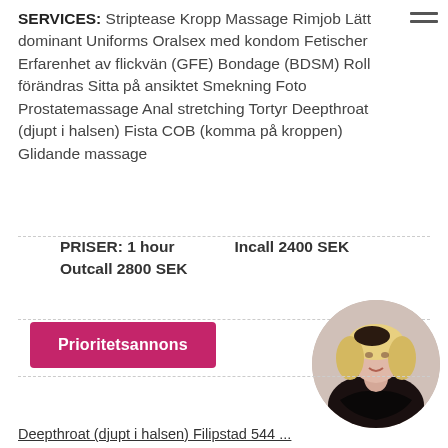SERVICES: Striptease Kropp Massage Rimjob Lätt dominant Uniforms Oralsex med kondom Fetischer Erfarenhet av flickvän (GFE) Bondage (BDSM) Roll förändras Sitta på ansiktet Smekning Foto Prostatemassage Anal stretching Tortyr Deepthroat (djupt i halsen) Fista COB (komma på kroppen) Glidande massage
PRISER: 1 hour    Incall 2400 SEK
Outcall 2800 SEK
Prioritetsannons
[Figure (photo): Circular photo of a blonde woman in black clothing]
Deepthroat (djupt i halsen) Filipstad 544 ...